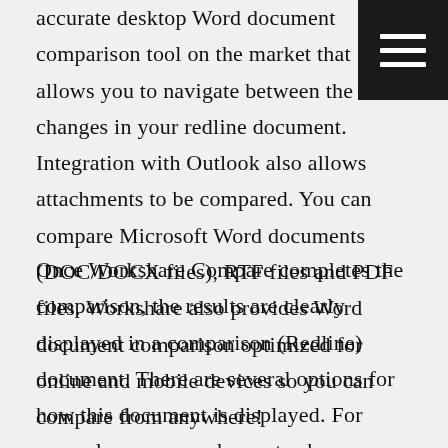accurate desktop Word document comparison tool on the market that allows you to navigate between the changes in your redline document. Integration with Outlook also allows attachments to be compared. You can compare Microsoft Word documents (DOC/DOCX files), RTF files and PDF files. Workshare also provides Word document comparison optimized for online and mobile devices so you can compare from anywhere!
[Figure (other): Hamburger menu icon — three horizontal white lines on a black square background, positioned in the top-right corner]
Once Workshare Compare completes the comparison, the results are clearly displayed in a comparison (Redline) document. There are several options for how this document is displayed. For example, you may choose to show deleted text in red with a strikethrough. Moving between changes in the Redline document scrolls to the change and highlights it in